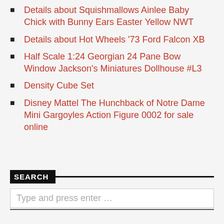Details about  Squishmallows Ainlee Baby Chick with Bunny Ears Easter Yellow NWT
Details about  Hot Wheels '73 Ford Falcon XB
Half Scale 1:24 Georgian 24 Pane Bow Window Jackson's Miniatures Dollhouse #L3
Density Cube Set
Disney Mattel The Hunchback of Notre Dame Mini Gargoyles Action Figure 0002 for sale online
SEARCH
Type and press enter …